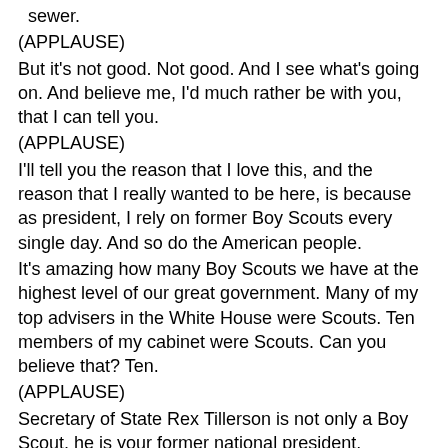sewer.
(APPLAUSE)
But it's not good. Not good. And I see what's going on. And believe me, I'd much rather be with you, that I can tell you.
(APPLAUSE)
I'll tell you the reason that I love this, and the reason that I really wanted to be here, is because as president, I rely on former Boy Scouts every single day. And so do the American people.
It's amazing how many Boy Scouts we have at the highest level of our great government. Many of my top advisers in the White House were Scouts. Ten members of my cabinet were Scouts. Can you believe that? Ten.
(APPLAUSE)
Secretary of State Rex Tillerson is not only a Boy Scout, he is your former national president.
(APPLAUSE)
The vice president of the United States, Mike Pence -- a